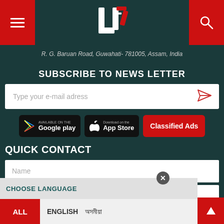[Figure (screenshot): Website header with hamburger menu on left red background, UB7 logo in center, search icon on right red background]
R. G. Baruan Road, Guwahati- 781005, Assam, India
SUBSCRIBE TO NEWS LETTER
Type your e-mail adress
[Figure (screenshot): Google Play store badge, App Store badge, and Classified Ads red button]
QUICK CONTACT
Name
Address
Phone
CHOOSE LANGUAGE
ALL   ENGLISH   অসমীয়া